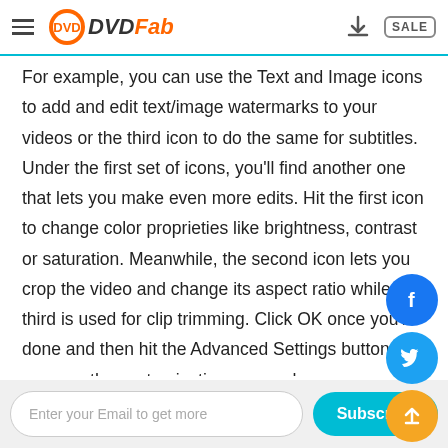DVDFab
For example, you can use the Text and Image icons to add and edit text/image watermarks to your videos or the third icon to do the same for subtitles. Under the first set of icons, you'll find another one that lets you make even more edits. Hit the first icon to change color proprieties like brightness, contrast or saturation. Meanwhile, the second icon lets you crop the video and change its aspect ratio while the third is used for clip trimming. Click OK once you're done and then hit the Advanced Settings button to open up the customization menu where you can make additional changes related to video and audio quality, resolution, frame rate, and more.
Enter your Email to get more | Subscribe